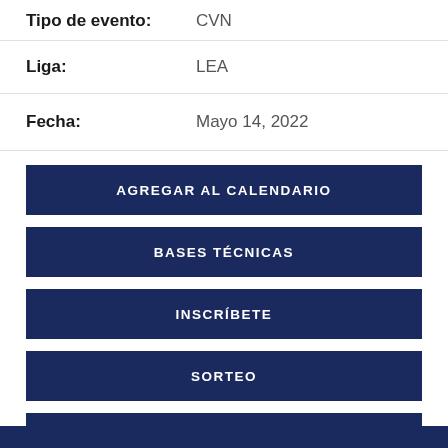Tipo de evento: CVN
Liga: LEA
Fecha: Mayo 14, 2022
AGREGAR AL CALENDARIO
BASES TÉCNICAS
INSCRÍBETE
SORTEO
RESULTADO